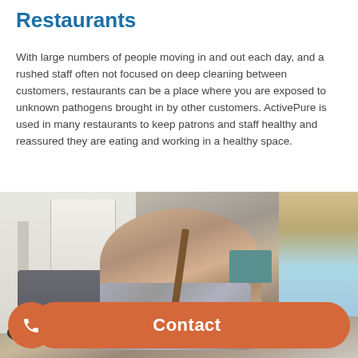Restaurants
With large numbers of people moving in and out each day, and a rushed staff often not focused on deep cleaning between customers, restaurants can be a place where you are exposed to unknown pathogens brought in by other customers. ActivePure is used in many restaurants to keep patrons and staff healthy and reassured they are eating and working in a healthy space.
[Figure (photo): Elderly man sitting on a grey sofa, smiling and holding a wooden cane with both hands. A younger person with blond hair is partially visible on the right side. Room has light-colored walls and a door/window in the background.]
Contact